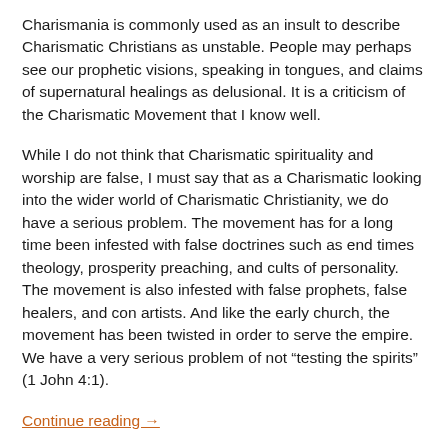Charismania is commonly used as an insult to describe Charismatic Christians as unstable. People may perhaps see our prophetic visions, speaking in tongues, and claims of supernatural healings as delusional. It is a criticism of the Charismatic Movement that I know well.
While I do not think that Charismatic spirituality and worship are false, I must say that as a Charismatic looking into the wider world of Charismatic Christianity, we do have a serious problem. The movement has for a long time been infested with false doctrines such as end times theology, prosperity preaching, and cults of personality. The movement is also infested with false prophets, false healers, and con artists. And like the early church, the movement has been twisted in order to serve the empire. We have a very serious problem of not “testing the spirits” (1 John 4:1).
Continue reading →